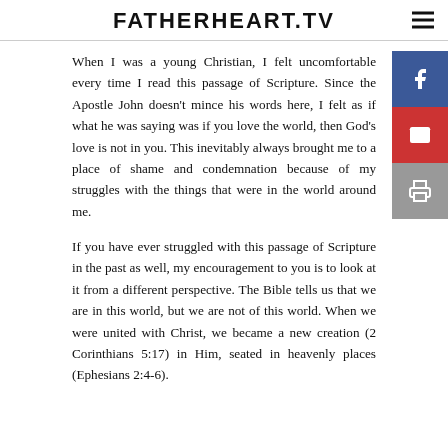FATHERHEART.TV
When I was a young Christian, I felt uncomfortable every time I read this passage of Scripture. Since the Apostle John doesn't mince his words here, I felt as if what he was saying was if you love the world, then God's love is not in you. This inevitably always brought me to a place of shame and condemnation because of my struggles with the things that were in the world around me.
If you have ever struggled with this passage of Scripture in the past as well, my encouragement to you is to look at it from a different perspective. The Bible tells us that we are in this world, but we are not of this world. When we were united with Christ, we became a new creation (2 Corinthians 5:17) in Him, seated in heavenly places (Ephesians 2:4-6).